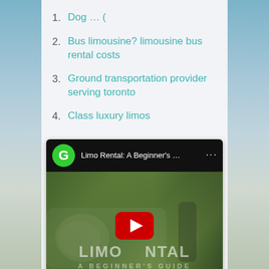1. Dog ... (
2. Bus limousine? limousine bus rental costs
3. Ground transportation provider serving toronto
4. Class luxury limos
[Figure (screenshot): YouTube video thumbnail for 'Limo Rental: A Beginner's ...' with a green channel icon showing letter G, dark top bar with title and menu dots, and a video thumbnail showing a limousine with text 'LIMO RENTAL A BEGINNER'S GUIDE' and a YouTube play button overlay]